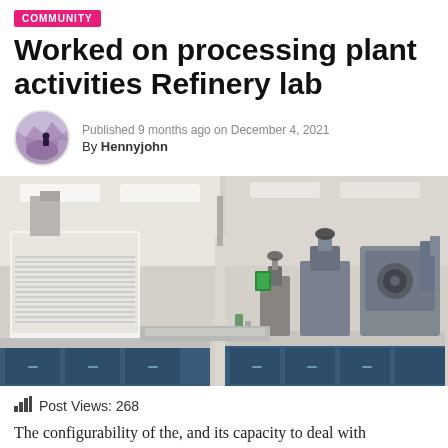COMMUNITY
Worked on processing plant activities Refinery lab
Published 9 months ago on December 4, 2021
By Hennyjohn
[Figure (photo): Interior of a laboratory with fume hoods, laboratory benches, microscopes and equipment]
Post Views: 268
The configurability of the, and its capacity to deal with processing plant activities without composing custom code, made it feasible for the Ergon data frameworks did it A